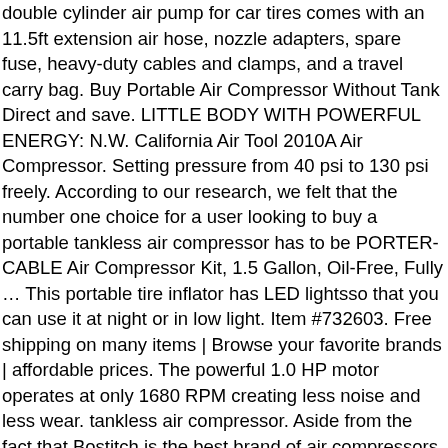double cylinder air pump for car tires comes with an 11.5ft extension air hose, nozzle adapters, spare fuse, heavy-duty cables and clamps, and a travel carry bag. Buy Portable Air Compressor Without Tank Direct and save. LITTLE BODY WITH POWERFUL ENERGY: N.W. California Air Tool 2010A Air Compressor. Setting pressure from 40 psi to 130 psi freely. According to our research, we felt that the number one choice for a user looking to buy a portable tankless air compressor has to be PORTER-CABLE Air Compressor Kit, 1.5 Gallon, Oil-Free, Fully … This portable tire inflator has LED lightsso that you can use it at night or in low light. Item #732603. Free shipping on many items | Browse your favorite brands | affordable prices. The powerful 1.0 HP motor operates at only 1680 RPM creating less noise and less wear. tankless air compressor. Aside from the fact that Bostitch is the best brand of air compressors on the market, this manufacturer sells its products at very competitive prices. FAST INFLATION: With Kensun's advanced engineering, the 120W solid metal motor provide superb power, which will make your tire inflation super-